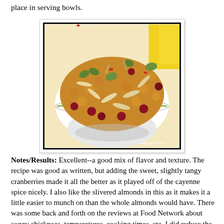place in serving bowls.
[Figure (photo): A white bowl filled with a colorful snack mix including chickpeas, slivered almonds, dried cranberries, pistachios, and other nuts and seeds. A yellow object is visible in the background. Watermark reads 'Habanai Kitchen'.]
Notes/Results: Excellent--a good mix of flavor and texture. The recipe was good as written, but adding the sweet, slightly tangy cranberries made it all the better as it played off of the cayenne spice nicely. I also like the slivered almonds in this as it makes it a little easier to munch on than the whole almonds would have. There was some back and forth on the reviews at Food Network about soggy chickpeas, temperatures, cooking times, etc. I did reduce the oil in mine by about 1/2 but kept everything else (temps